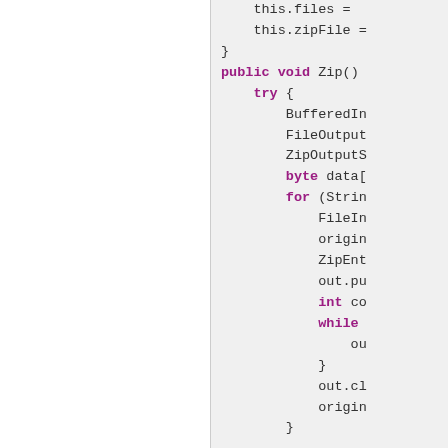[Figure (screenshot): Source code snippet showing Java code for a Zip() method with file compression logic. Left side is white/blank panel, right side shows code on gray background with keywords highlighted in purple/magenta.]